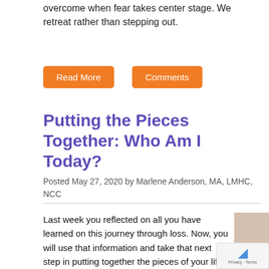overcome when fear takes center stage. We retreat rather than stepping out.
Read More
Comments
Putting the Pieces Together: Who Am I Today?
Posted May 27, 2020 by Marlene Anderson, MA, LMHC, NCC
[Figure (photo): Woman seen from behind holding a round mirror reflecting the sky and ocean, standing near the water on a beach.]
Last week you reflected on all you have learned on this journey through loss. Now, you will use that information and take that next step in putting together the pieces of your life that were disrupted into a new picture of who you can become.